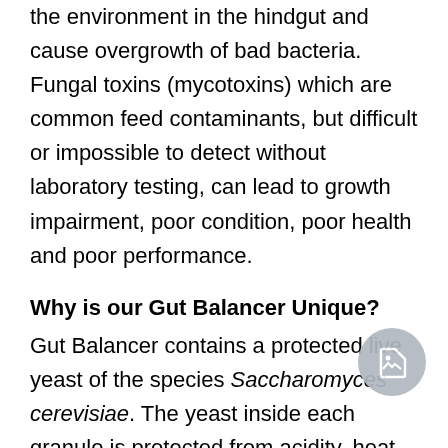the environment in the hindgut and cause overgrowth of bad bacteria. Fungal toxins (mycotoxins) which are common feed contaminants, but difficult or impossible to detect without laboratory testing, can lead to growth impairment, poor condition, poor health and poor performance.
Why is our Gut Balancer Unique?
Gut Balancer contains a protected live yeast of the species Saccharomyces cerevisiae. The yeast inside each granule is protected from acidity, heat and moisture by a layer of dead yeast cells which enhances stability meaning that more yeast cells reach the hindgut alive. Micro-organisms such as yeast have a beneficial effect on health when eaten are often referred to as probiotics; when translated this means